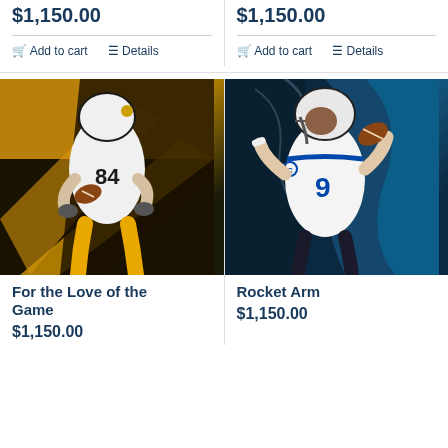$1,150.00
Add to cart
Details
$1,150.00
Add to cart
Details
[Figure (illustration): Painting of a Pittsburgh Steelers player #84 catching a football, wearing white and gold uniform, against a golden/black background]
[Figure (illustration): Painting of a Detroit Lions quarterback #9 throwing a football, wearing white uniform with blue accents, against a dark blue/teal background]
For the Love of the Game
$1,150.00
Rocket Arm
$1,150.00